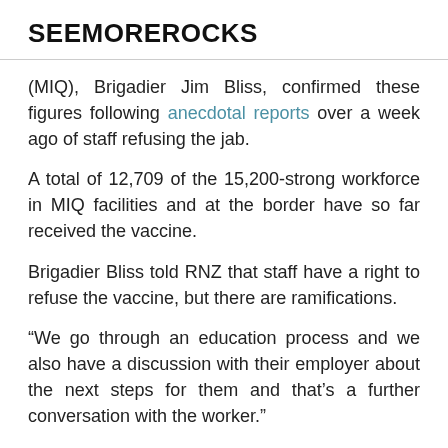SEEMOREROCKS
(MIQ), Brigadier Jim Bliss, confirmed these figures following anecdotal reports over a week ago of staff refusing the jab.
A total of 12,709 of the 15,200-strong workforce in MIQ facilities and at the border have so far received the vaccine.
Brigadier Bliss told RNZ that staff have a right to refuse the vaccine, but there are ramifications.
“We go through an education process and we also have a discussion with their employer about the next steps for them and that’s a further conversation with the worker.”